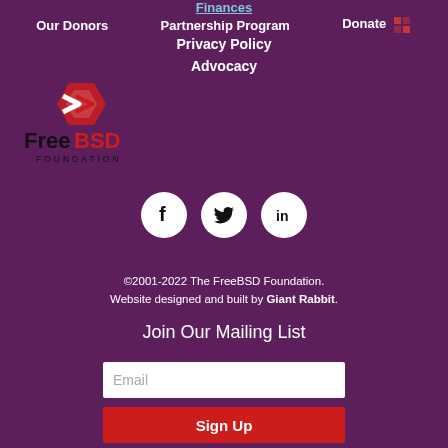Finances
Our Donors   Partnership Program   Donate
Privacy Policy
Advocacy
[Figure (logo): FreeBSD Foundation logo with red hexagon icon and FreeBSD Foundation text]
[Figure (infographic): Social media icons: Facebook, Twitter, LinkedIn in white circles on purple background]
©2001-2022 The FreeBSD Foundation.
Website designed and built by Giant Rabbit.
Join Our Mailing List
Email
Sign Up